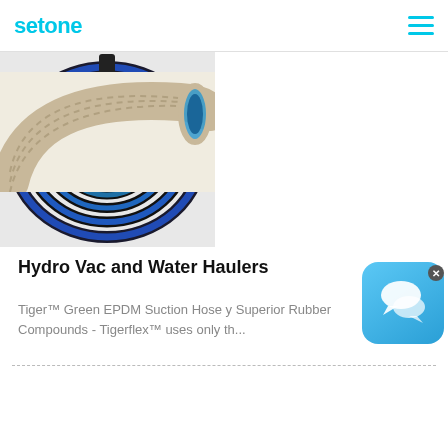setone
[Figure (photo): Coiled blue and black hose/tubing on a white background]
Hydro Vac and Water Haulers
Tiger™ Green EPDM Suction Hose y Superior Rubber Compounds - Tigerflex™ uses only th...
[Figure (photo): Chat/messaging app icon with speech bubble on blue gradient background with X close button]
[Figure (photo): Cream/tan colored corrugated flexible hose with blue interior visible at opening end]